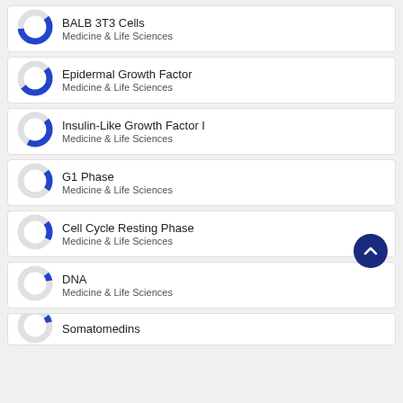BALB 3T3 Cells — Medicine & Life Sciences
Epidermal Growth Factor — Medicine & Life Sciences
Insulin-Like Growth Factor I — Medicine & Life Sciences
G1 Phase — Medicine & Life Sciences
Cell Cycle Resting Phase — Medicine & Life Sciences
DNA — Medicine & Life Sciences
Somatomedins — Medicine & Life Sciences